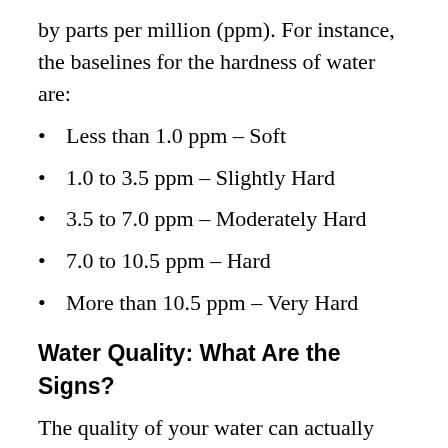by parts per million (ppm). For instance, the baselines for the hardness of water are:
Less than 1.0 ppm – Soft
1.0 to 3.5 ppm – Slightly Hard
3.5 to 7.0 ppm – Moderately Hard
7.0 to 10.5 ppm – Hard
More than 10.5 ppm – Very Hard
Water Quality: What Are the Signs?
The quality of your water can actually have a lot to do with issues in your home and with your health. If your washing machine is